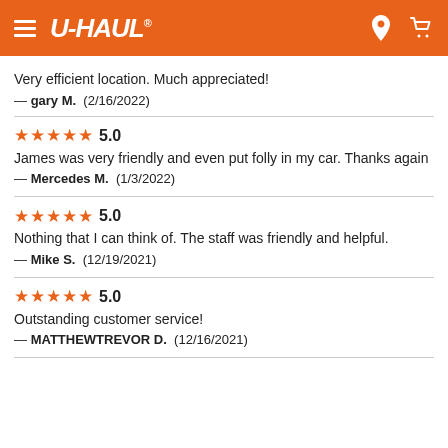[Figure (logo): U-Haul orange navigation header bar with hamburger menu, U-HAUL logo, location pin icon, and shopping cart icon]
Very efficient location. Much appreciated!
— gary M.  (2/16/2022)
★★★★★ 5.0
James was very friendly and even put folly in my car. Thanks again
— Mercedes M.  (1/3/2022)
★★★★★ 5.0
Nothing that I can think of. The staff was friendly and helpful.
— Mike S.  (12/19/2021)
★★★★★ 5.0
Outstanding customer service!
— MATTHEWTREVOR D.  (12/16/2021)